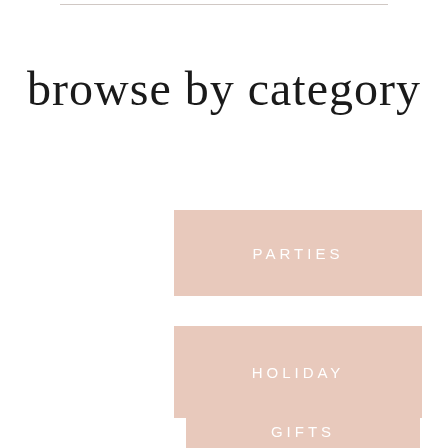browse by category
PARTIES
HOLIDAY
GIFTS